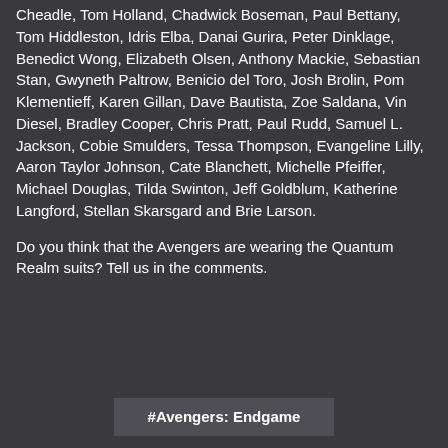Cheadle, Tom Holland, Chadwick Boseman, Paul Bettany, Tom Hiddleston, Idris Elba, Danai Gurira, Peter Dinklage, Benedict Wong, Elizabeth Olsen, Anthony Mackie, Sebastian Stan, Gwyneth Paltrow, Benicio del Toro, Josh Brolin, Pom Klementieff, Karen Gillan, Dave Bautista, Zoe Saldana, Vin Diesel, Bradley Cooper, Chris Pratt, Paul Rudd, Samuel L. Jackson, Cobie Smulders, Tessa Thompson, Evangeline Lilly, Aaron Taylor Johnson, Cate Blanchett, Michelle Pfeiffer, Michael Douglas, Tilda Swinton, Jeff Goldblum, Katherine Langford, Stellan Skarsgard and Brie Larson.
Do you think that the Avengers are wearing the Quantum Realm suits? Tell us in the comments.
#Avengers: Endgame